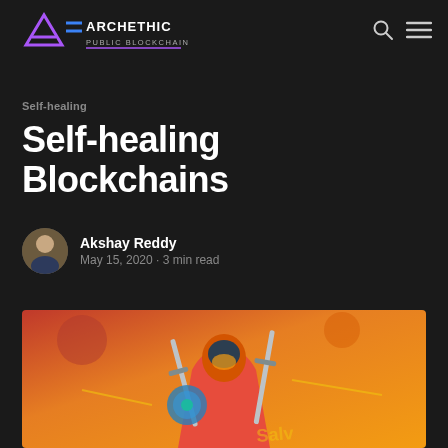Archethic Public Blockchain
Self-healing
Self-healing Blockchains
Akshay Reddy
May 15, 2020 • 3 min read
[Figure (photo): Comic-style illustration of a masked armored warrior character in orange and red costume holding swords, with colorful action artwork background]